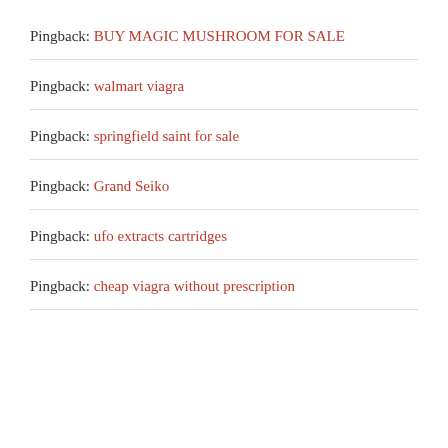Pingback: BUY MAGIC MUSHROOM FOR SALE
Pingback: walmart viagra
Pingback: springfield saint for sale
Pingback: Grand Seiko
Pingback: ufo extracts cartridges
Pingback: cheap viagra without prescription